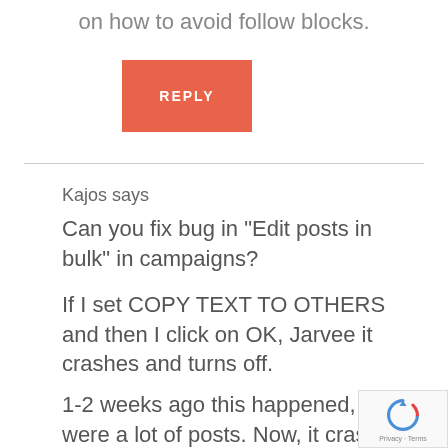on how to avoid follow blocks.
REPLY
Kajos says
Can you fix bug in “Edit posts in bulk” in campaigns?
If I set COPY TEXT TO OTHERS and then I click on OK, Jarvee it crashes and turns off.
1-2 weeks ago this happened, if were a lot of posts. Now, it crashes even if I copy